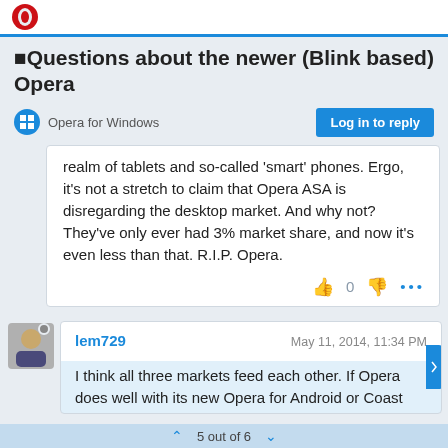Opera
Questions about the newer (Blink based) Opera
Opera for Windows
Log in to reply
realm of tablets and so-called 'smart' phones. Ergo, it's not a stretch to claim that Opera ASA is disregarding the desktop market. And why not? They've only ever had 3% market share, and now it's even less than that. R.I.P. Opera.
lem729   May 11, 2014, 11:34 PM
I think all three markets feed each other. If Opera does well with its new Opera for Android or Coast
5 out of 6